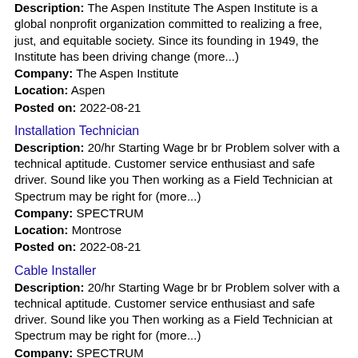Description: The Aspen Institute The Aspen Institute is a global nonprofit organization committed to realizing a free, just, and equitable society. Since its founding in 1949, the Institute has been driving change (more...)
Company: The Aspen Institute
Location: Aspen
Posted on: 2022-08-21
Installation Technician
Description: 20/hr Starting Wage br br Problem solver with a technical aptitude. Customer service enthusiast and safe driver. Sound like you Then working as a Field Technician at Spectrum may be right for (more...)
Company: SPECTRUM
Location: Montrose
Posted on: 2022-08-21
Cable Installer
Description: 20/hr Starting Wage br br Problem solver with a technical aptitude. Customer service enthusiast and safe driver. Sound like you Then working as a Field Technician at Spectrum may be right for (more...)
Company: SPECTRUM
Location: Montrose
Posted on: 2022-08-21
Service Technician
Description: 20/hr Starting Wage br br Problem solver with a